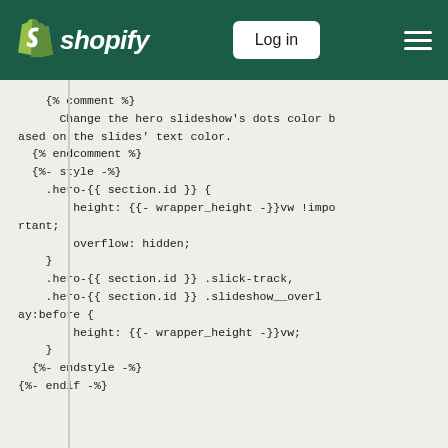shopify — Log in — menu
{% comment %}
    Change the hero slideshow's dots color based on the slides' text color.
  {% endcomment %}
  {%- style -%}
    .hero-{{ section.id }} {
        height: {{- wrapper_height -}}vw !important;
        overflow: hidden;
    }
    .hero-{{ section.id }} .slick-track,
    .hero-{{ section.id }} .slideshow__overlay:before {
        height: {{- wrapper_height -}}vw;
    }
  {%- endstyle -%}
{%- endif -%}